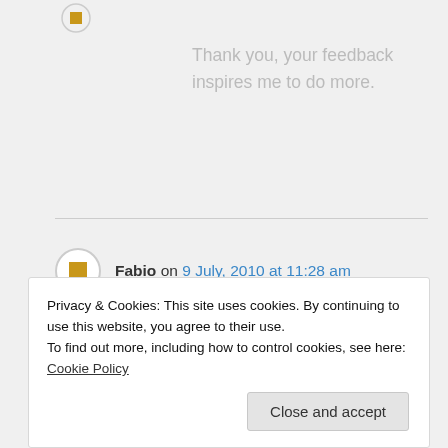[Figure (illustration): Small avatar icon at top left, partially visible]
Thank you, your feedback inspires me to do more.
Fabio on 9 July, 2010 at 11:28 am
It certainly does not suck. You have put in a lot of effort and work and then provided this plug-in for all who
Privacy & Cookies: This site uses cookies. By continuing to use this website, you agree to their use.
To find out more, including how to control cookies, see here: Cookie Policy